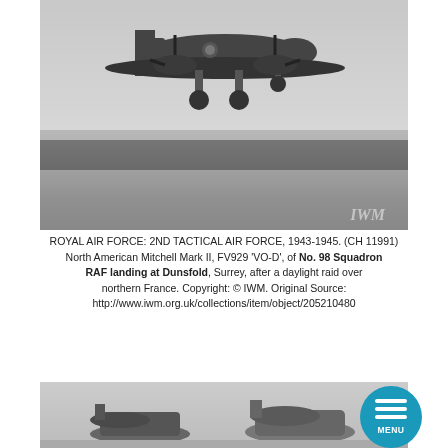[Figure (photo): Black and white photograph of a North American Mitchell Mark II aircraft (FV929 'VO-D') landing at Dunsfold airfield, taken from ground level. The aircraft is low over the runway with landing gear extended. Trees and hills visible in background. IWM watermark in bottom right corner.]
ROYAL AIR FORCE: 2ND TACTICAL AIR FORCE, 1943-1945. (CH 11991) North American Mitchell Mark II, FV929 'VO-D', of No. 98 Squadron RAF landing at Dunsfold, Surrey, after a daylight raid over northern France. Copyright: © IWM. Original Source: http://www.iwm.org.uk/collections/item/object/205210480
[Figure (photo): Black and white photograph showing aircraft on ground, partially visible at bottom of page. A circular blue menu button overlay is visible in the top right area of the photo.]